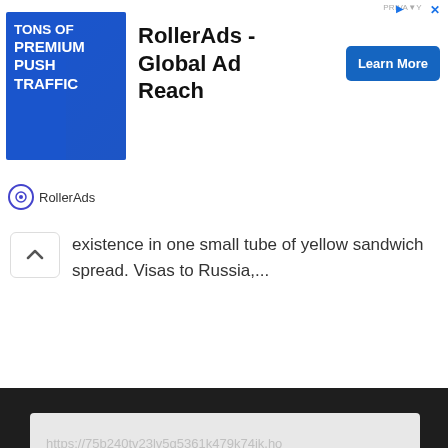[Figure (screenshot): RollerAds advertisement banner with blue background image showing woman, text 'TONS OF PREMIUM PUSH TRAFFIC', headline 'RollerAds - Global Ad Reach', and blue 'Learn More' button]
existence in one small tube of yellow sandwich spread. Visas to Russia,...
[Figure (screenshot): Gray box containing a faded/watermarked URL: https://75b240tv23lv5q5361k479k74jk.hop.clickbank.net/]
POWERED BY WORDPRESS.COM.